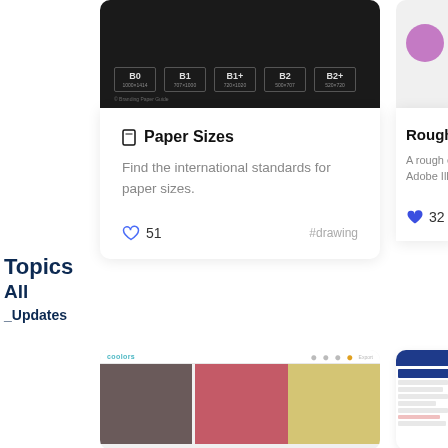Topics
All
_Updates
[Figure (screenshot): Dark background showing paper size labels: B0, B1, B1+, B2, B2+]
Paper Sizes
Find the international standards for paper sizes.
51
#drawing
Rough P
A rough ec
Adobe Illu
32
[Figure (screenshot): Coolors color palette tool showing color swatches: dark gray-brown, salmon red, and muted yellow]
[Figure (screenshot): Partially visible interface with blue header bar]